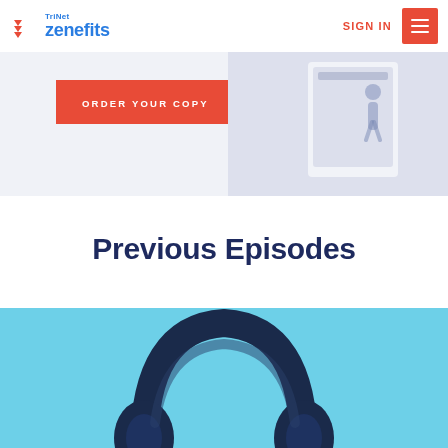TriNet Zenefits | SIGN IN
[Figure (screenshot): Banner with ORDER YOUR COPY button and book/graphic image on right]
Previous Episodes
[Figure (photo): Light blue background with dark blue headphones visible from top, cropped]